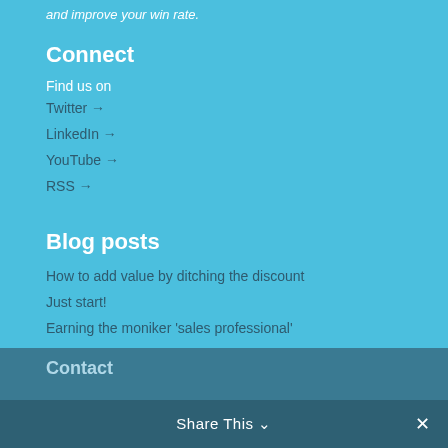and improve your win rate.
Connect
Find us on
Twitter →
LinkedIn →
YouTube →
RSS →
Blog posts
How to add value by ditching the discount
Just start!
Earning the moniker 'sales professional'
Contact
Share This ∨  ×